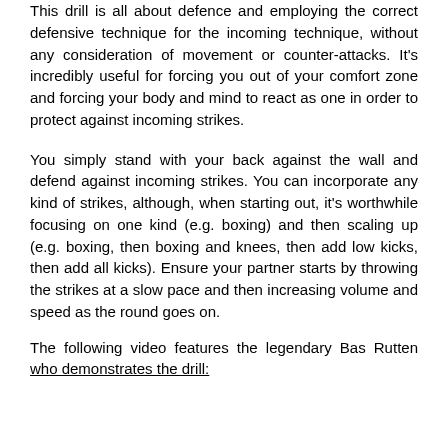This drill is all about defence and employing the correct defensive technique for the incoming technique, without any consideration of movement or counter-attacks. It's incredibly useful for forcing you out of your comfort zone and forcing your body and mind to react as one in order to protect against incoming strikes.
You simply stand with your back against the wall and defend against incoming strikes. You can incorporate any kind of strikes, although, when starting out, it's worthwhile focusing on one kind (e.g. boxing) and then scaling up (e.g. boxing, then boxing and knees, then add low kicks, then add all kicks). Ensure your partner starts by throwing the strikes at a slow pace and then increasing volume and speed as the round goes on.
The following video features the legendary Bas Rutten who demonstrates the drill: